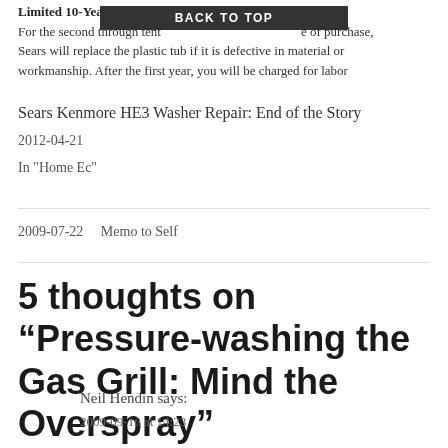Limited 10-Year Warranty on Plastic Tub
For the second through tenth year after date of purchase, Sears will replace the plastic tub if it is defective in material or workmanship. After the first year, you will be charged for labor
BACK TO TOP
Sears Kenmore HE3 Washer Repair: End of the Story
2012-04-21
In "Home Ec"
2009-07-22    Memo to Self
5 thoughts on “Pressure-washing the Gas Grill: Mind the Overspray”
Neil Hendin says:
2009-09-16 at 14:23